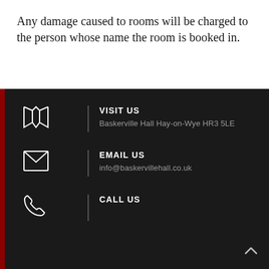Any damage caused to rooms will be charged to the person whose name the room is booked in.
VISIT US
Baskerville Hall Hay-on-Wye HR3 5LE
EMAIL US
info@baskervillehall.co.uk
CALL US